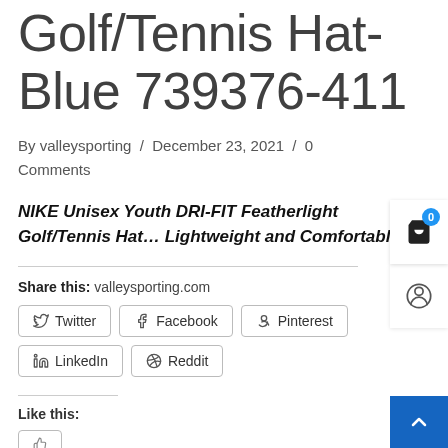Golf/Tennis Hat-Blue 739376-411
By valleysporting / December 23, 2021 / 0 Comments
NIKE Unisex Youth DRI-FIT Featherlight Golf/Tennis Hat… Lightweight and Comfortable.
Share this: valleysporting.com
Twitter
Facebook
Pinterest
LinkedIn
Reddit
Like this: